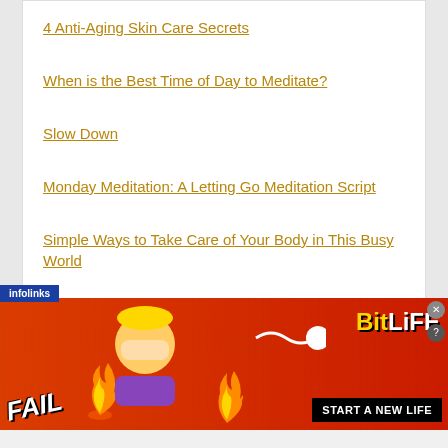4 Anti-Aging Skin Care Secrets
When is the Best Time of Day to Meditate?
Slow Down
Monday Meditation: A Letting Go Meditation Script
Simple Ways to Take Care of Your Body in This Busy World
[Figure (screenshot): BitLife advertisement banner with infolinks tag, FAIL text, emoji characters, flame, sperm logo, and 'START A NEW LIFE' CTA on red dotted background]